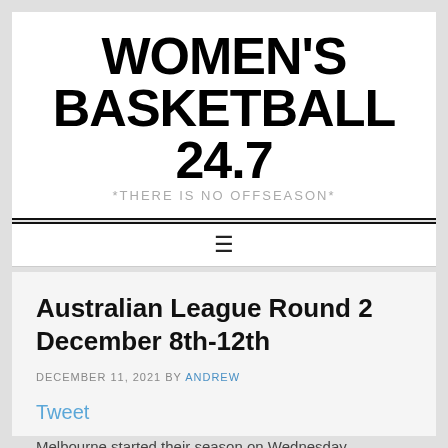WOMEN'S BASKETBALL 24.7
*THERE IS NO OFFSEASON*
≡
Australian League Round 2 December 8th-12th
DECEMBER 11, 2021 BY ANDREW
Tweet
Melbourne started their season on Wednesday,